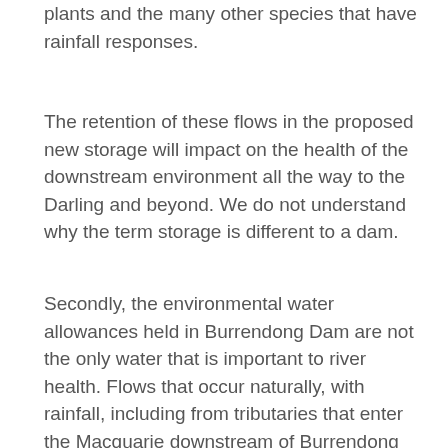plants and the many other species that have rainfall responses.
The retention of these flows in the proposed new storage will impact on the health of the downstream environment all the way to the Darling and beyond. We do not understand why the term storage is different to a dam.
Secondly, the environmental water allowances held in Burrendong Dam are not the only water that is important to river health. Flows that occur naturally, with rainfall, including from tributaries that enter the Macquarie downstream of Burrendong have more nutrients, oxygen and no cold water pollution. They are much healthier for the river system and for fish